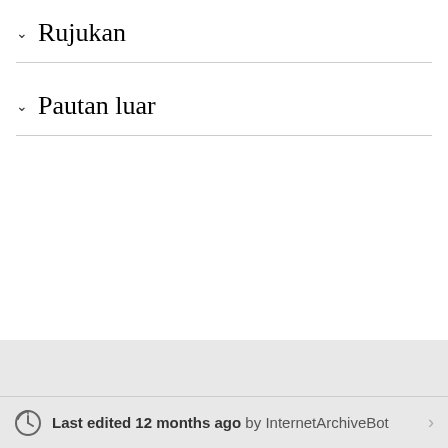Rujukan
Pautan luar
Last edited 12 months ago by InternetArchiveBot